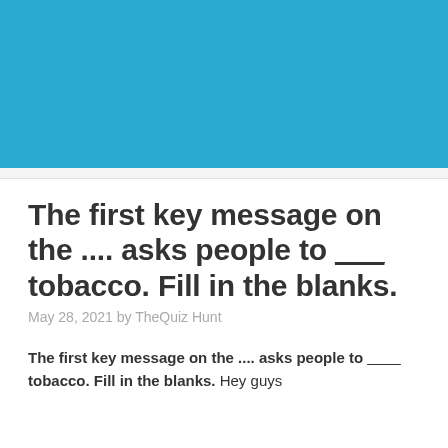[Figure (illustration): Blue banner/header image at the top of the page]
The first key message on the .... asks people to ___ tobacco. Fill in the blanks.
May 28, 2021 by TheQuiz Hunt
The first key message on the .... asks people to ___ tobacco. Fill in the blanks. Hey guys